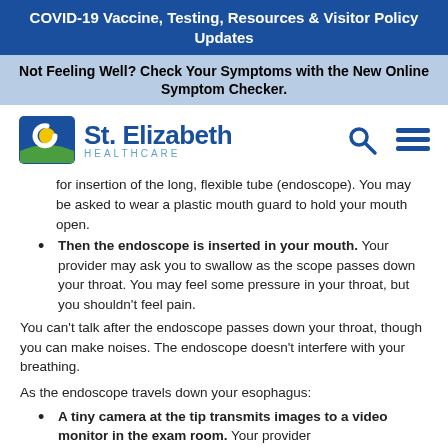COVID-19 Vaccine, Testing, Resources & Visitor Policy Updates
Not Feeling Well? Check Your Symptoms with the New Online Symptom Checker.
[Figure (logo): St. Elizabeth Healthcare logo with search and menu icons]
for insertion of the long, flexible tube (endoscope). You may be asked to wear a plastic mouth guard to hold your mouth open.
Then the endoscope is inserted in your mouth. Your provider may ask you to swallow as the scope passes down your throat. You may feel some pressure in your throat, but you shouldn't feel pain.
You can't talk after the endoscope passes down your throat, though you can make noises. The endoscope doesn't interfere with your breathing.
As the endoscope travels down your esophagus:
A tiny camera at the tip transmits images to a video monitor in the exam room. Your provider